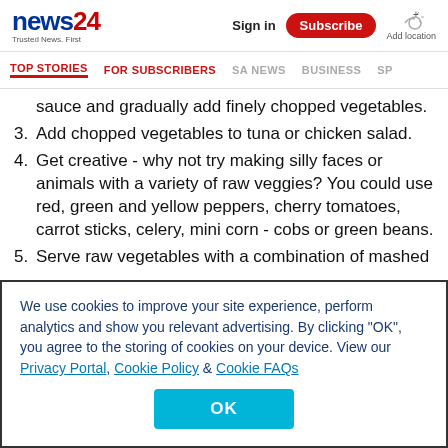news24 Trusted News. First | Sign in | Subscribe | Add location
TOP STORIES | FOR SUBSCRIBERS | SA NEWS | BUSINESS | SP
sauce and gradually add finely chopped vegetables.
3. Add chopped vegetables to tuna or chicken salad.
4. Get creative - why not try making silly faces or animals with a variety of raw veggies? You could use red, green and yellow peppers, cherry tomatoes, carrot sticks, celery, mini corn - cobs or green beans.
5. Serve raw vegetables with a combination of mashed
We use cookies to improve your site experience, perform analytics and show you relevant advertising. By clicking "OK", you agree to the storing of cookies on your device. View our Privacy Portal, Cookie Policy & Cookie FAQs
OK